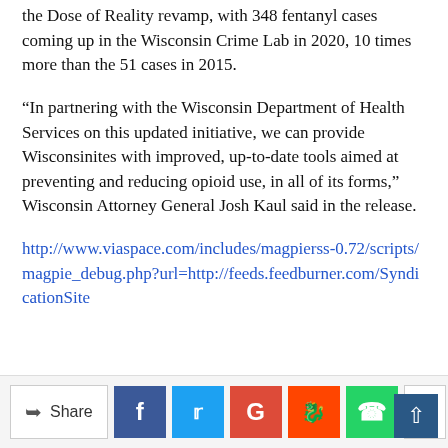the Dose of Reality revamp, with 348 fentanyl cases coming up in the Wisconsin Crime Lab in 2020, 10 times more than the 51 cases in 2015.
“In partnering with the Wisconsin Department of Health Services on this updated initiative, we can provide Wisconsinites with improved, up-to-date tools aimed at preventing and reducing opioid use, in all of its forms,” Wisconsin Attorney General Josh Kaul said in the release.
http://www.viaspace.com/includes/magpierss-0.72/scripts/magpie_debug.php?url=http://feeds.feedburner.com/SyndicationSite